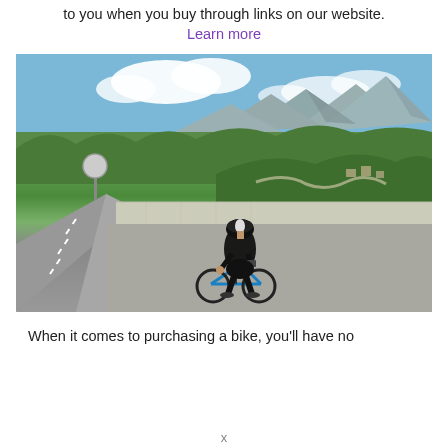to you when you buy through links on our website.
Learn more
[Figure (photo): A cyclist in black kit and helmet photographing a scenic mountain valley landscape from a roadside viewpoint, viewed from behind.]
When it comes to purchasing a bike, you'll have no
x